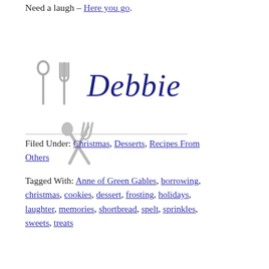Need a laugh – Here you go.
[Figure (illustration): Crossed spoon and fork icon in gray, followed by 'Debbie' written in dark blue italic script font — a blog signature graphic.]
Filed Under: Christmas, Desserts, Recipes From Others
Tagged With: Anne of Green Gables, borrowing, christmas, cookies, dessert, frosting, holidays, laughter, memories, shortbread, spelt, sprinkles, sweets, treats